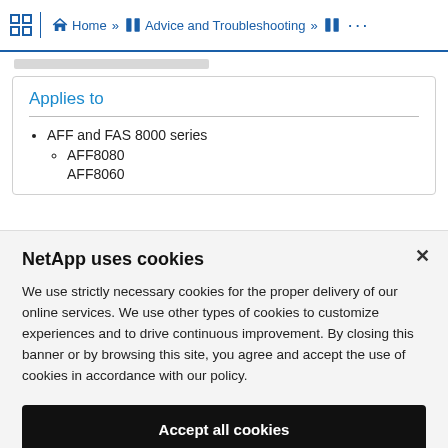Home » Advice and Troubleshooting » ...
Applies to
AFF and FAS 8000 series
AFF8080
AFF8060
NetApp uses cookies
We use strictly necessary cookies for the proper delivery of our online services. We use other types of cookies to customize experiences and to drive continuous improvement. By closing this banner or by browsing this site, you agree and accept the use of cookies in accordance with our policy.
Accept all cookies
Cookie settings